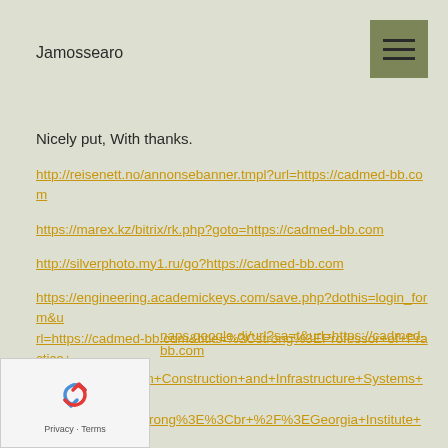Jamossearo
Nicely put, With thanks.
http://reisenett.no/annonsebanner.tmpl?url=https://cadmed-bb.com
https://marex.kz/bitrix/rk.php?goto=https://cadmed-bb.com
http://silverphoto.my1.ru/go?https://cadmed-bb.com
https://engineering.academickeys.com/save.php?dothis=login_form&url=https://cadmed-bb.com&title=%3Cstrong%3EProfessor+of+Practice+Faculty+Position+in+Construction+and+Infrastructure+Systems+Engineering+%3C%2Fstrong%3E%3Cbr+%2F%3EGeorgia+Institute+of+Technology
%3Cbr+%2F%3ESchool+of+Civil+%26amp%3B+Environmental+Engine
naps.google.dj/url?sa=t&url=https://cadmed-bb.com